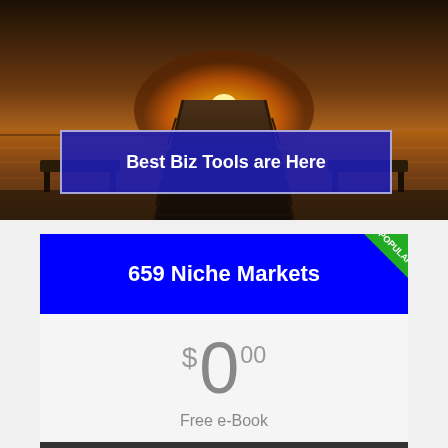[Figure (photo): Sunset photo of a wooden pier/boardwalk extending toward the horizon over water, with warm golden light and wooden railing on both sides]
Best Biz Tools are Here
[Figure (infographic): Blue product card banner showing '659 Niche Markets' with a green POPULAR ribbon in top-right corner]
$0.00
Free e-Book